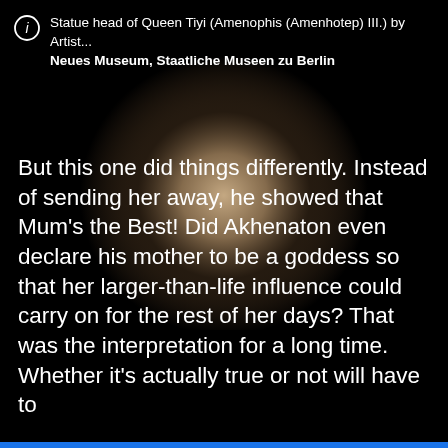Statue head of Queen Tiyi (Amenophis (Amenhotep) III.) by Artist...
Neues Museum, Staatliche Museen zu Berlin
[Figure (photo): Dark background with a softly lit sculpture or artifact glowing with warm tan/beige tones in the center, fading to black at the edges — appears to be a museum photograph of a statue head.]
But this one did things differently. Instead of sending her away, he showed that Mum's the Best! Did Akhenaton even declare his mother to be a goddess so that her larger-than-life influence could carry on for the rest of her days? That was the interpretation for a long time. Whether it's actually true or not will have to